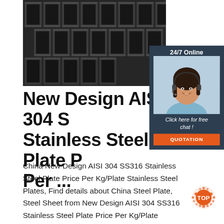[Figure (photo): Close-up photo of stainless steel H-beams/structural steel sections stacked together, dark metallic gray color]
[Figure (infographic): 24/7 Online chat widget with female customer service agent wearing headset, dark navy background, 'Click here for free chat!' text and orange QUOTATION button]
New Design AISI 304 SS316 Stainless Steel Plate Price Per Kg/Plate Stainless Steel Plates
China New Design AISI 304 SS316 Stainless Steel Plate Price Per Kg/Plate Stainless Steel Plates, Find details about China Steel Plate, Steel Sheet from New Design AISI 304 SS316 Stainless Steel Plate Price Per Kg/Plate Stainless Steel Plates - Shanghai Yinggui Metal Product Co., Ltd.
[Figure (logo): TOP badge logo with orange dots forming a circular pattern and 'TOP' text in white on orange background]